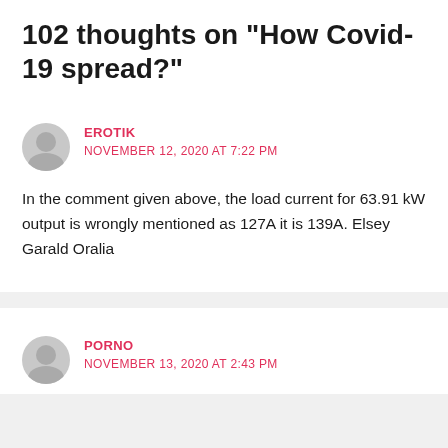102 thoughts on “How Covid-19 spread?”
EROTIK
NOVEMBER 12, 2020 AT 7:22 PM
In the comment given above, the load current for 63.91 kW output is wrongly mentioned as 127A it is 139A. Elsey Garald Oralia
PORNO
NOVEMBER 13, 2020 AT 2:43 PM